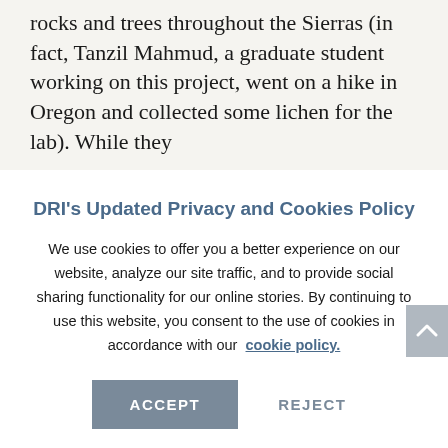rocks and trees throughout the Sierras (in fact, Tanzil Mahmud, a graduate student working on this project, went on a hike in Oregon and collected some lichen for the lab). While they
DRI's Updated Privacy and Cookies Policy
We use cookies to offer you a better experience on our website, analyze our site traffic, and to provide social sharing functionality for our online stories. By continuing to use this website, you consent to the use of cookies in accordance with our cookie policy.
ACCEPT
REJECT